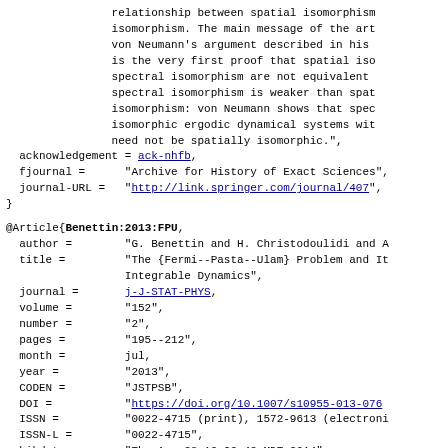relationship between spatial isomorphism and spectral isomorphism. The main message of the art von Neumann's argument described in his is the very first proof that spatial iso spectral isomorphism are not equivalent spectral isomorphism is weaker than spat isomorphism: von Neumann shows that spec isomorphic ergodic dynamical systems wit need not be spatially isomorphic.",
acknowledgement = ack-nhfb,
  fjournal =      "Archive for History of Exact Sciences",
  journal-URL =   "http://link.springer.com/journal/407",
}
@Article{Benettin:2013:FPU,
  author =        "G. Benettin and H. Christodoulidi and A.
  title =         "The {Fermi--Pasta--Ulam} Problem and It Integrable Dynamics",
  journal =       j-J-STAT-PHYS,
  volume =        "152",
  number =        "2",
  pages =         "195--212",
  month =         jul,
  year =          "2013",
  CODEN =         "JSTPSB",
  DOI =           "https://doi.org/10.1007/s10955-013-076
  ISSN =          "0022-4715 (print), 1572-9613 (electroni
  ISSN-L =        "0022-4715",
  bibdate =       "Thu Aug 28 19:22:42 MDT 2014",
  bibsource =     "http://link.springer.com/journal/10955